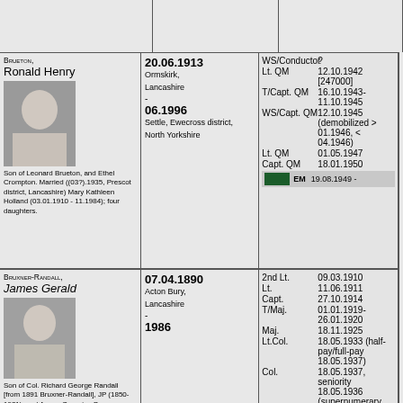| Name | Dates/Places | Ranks/Awards |
| --- | --- | --- |
| Brueton, Ronald Henry | 20.06.1913 Ormskirk, Lancashire - 06.1996 Settle, Ewecross district, North Yorkshire | WS/Conductor ? | Lt. QM 12.10.1942 [247000] | T/Capt. QM 16.10.1943-11.10.1945 | WS/Capt. QM 12.10.1945 (demobilized > 01.1946, < 04.1946) | Lt. QM 01.05.1947 | Capt. QM 18.01.1950 | EM 19.08.1949 - |
| Bruxner-Randall, James Gerald | 07.04.1890 Acton Bury, Lancashire - 1986 | 2nd Lt. 09.03.1910 | Lt. 11.06.1911 | Capt. 27.10.1914 | T/Maj. 01.01.1919-26.01.1920 | Maj. 18.11.1925 | Lt.Col. 18.05.1933 (half-pay/full-pay 18.05.1937) | Col. 18.05.1937, seniority 18.05.1936 (supernumerary 31.12.1943) (retd 14.08.1946) | T/Brig. 24.11.1937-01.08.1942, 26.08.1942-(01.1946) | Hon. Brig. 14.08.1946 | CBE 21.12.1944 ? | MID 23.01.1918 ? |